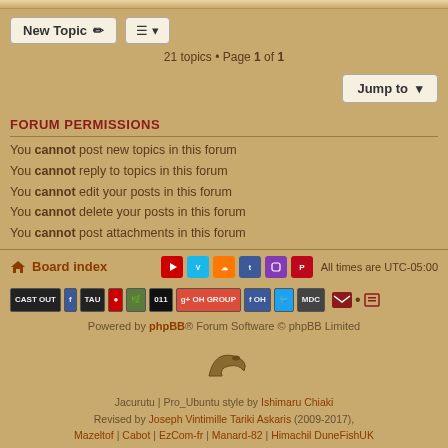21 topics • Page 1 of 1
FORUM PERMISSIONS
You cannot post new topics in this forum
You cannot reply to topics in this forum
You cannot edit your posts in this forum
You cannot delete your posts in this forum
You cannot post attachments in this forum
Board index   All times are UTC-05:00
Powered by phpBB® Forum Software © phpBB Limited
Jacurutu | Pro_Ubuntu style by Ishimaru Chiaki Revised by Joseph Vintimille Tariki Askaris (2009-2017), Mazeltof | Cabot | EzCom-fr | Manard-82 | Himachil DuneFishUK Style ported to phpBB 3.3 by phpBB Services
Privacy | Terms